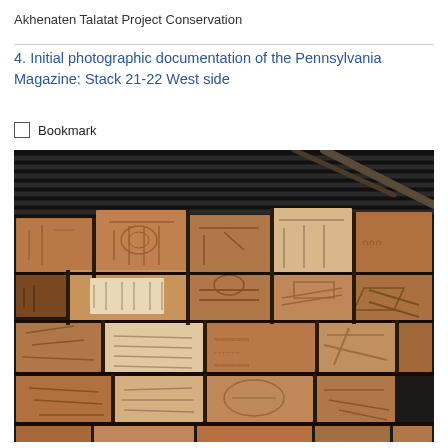Akhenaten Talatat Project Conservation
4. Initial photographic documentation of the Pennsylvania Magazine: Stack 21-22 West side
Bookmark
[Figure (photo): Photograph of stacked ancient Egyptian talatat blocks (carved sandstone blocks) with hieroglyphic inscriptions, stored in a magazine. Metal corrugated roof visible at top with a diagonal bar/rod. Blocks are arranged in rows, showing various carved relief scenes and inscriptions in reddish-brown and lighter stone tones.]